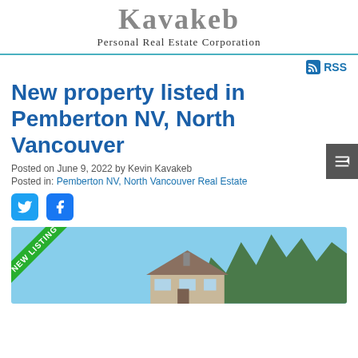Kavakeb Personal Real Estate Corporation
RSS
New property listed in Pemberton NV, North Vancouver
Posted on June 9, 2022 by Kevin Kavakeb
Posted in: Pemberton NV, North Vancouver Real Estate
[Figure (photo): Property photo showing a modern house with chimney and large windows, surrounded by trees, with a NEW LISTING ribbon in the top-left corner]